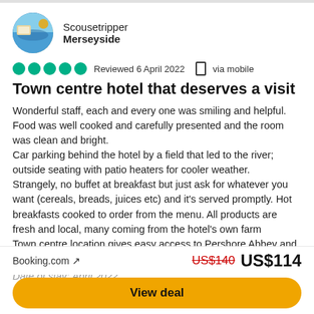[Figure (photo): Circular avatar photo of reviewer Scousetripper showing a coastal/restaurant scene]
Scousetripper
Merseyside
●●●●● Reviewed 6 April 2022  via mobile
Town centre hotel that deserves a visit
Wonderful staff, each and every one was smiling and helpful. Food was well cooked and carefully presented and the room was clean and bright.
Car parking behind the hotel by a field that led to the river; outside seating with patio heaters for cooler weather.
Strangely, no buffet at breakfast but just ask for whatever you want (cereals, breads, juices etc) and it's served promptly. Hot breakfasts cooked to order from the menu. All products are fresh and local, many coming from the hotel's own farm
Town centre location gives easy access to Pershore Abbey and Market; Evesham is a 15 minute drive.
Date of stay: April 2022
Booking.com ↗
US$140  US$114
View deal